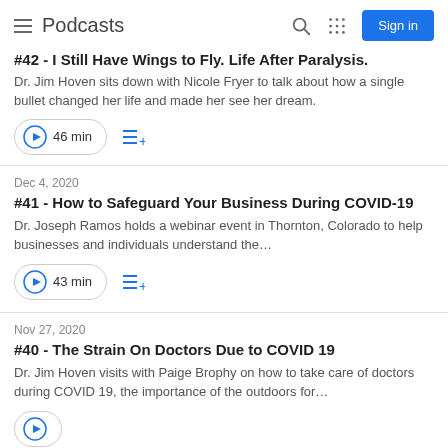Podcasts
#42 – I Still Have Wings to Fly. Life After Paralysis.
Dr. Jim Hoven sits down with Nicole Fryer to talk about how a single bullet changed her life and made her see her dream.
46 min
Dec 4, 2020
#41 - How to Safeguard Your Business During COVID-19
Dr. Joseph Ramos holds a webinar event in Thornton, Colorado to help businesses and individuals understand the…
43 min
Nov 27, 2020
#40 - The Strain On Doctors Due to COVID 19
Dr. Jim Hoven visits with Paige Brophy on how to take care of doctors during COVID 19, the importance of the outdoors for…